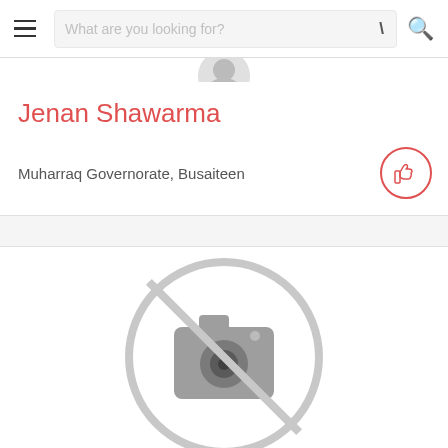What are you looking for?
Jenan Shawarma
Muharraq Governorate, Busaiteen
[Figure (illustration): No photo available icon — a camera symbol with a diagonal line through it, inside a large circle, all in light grey]